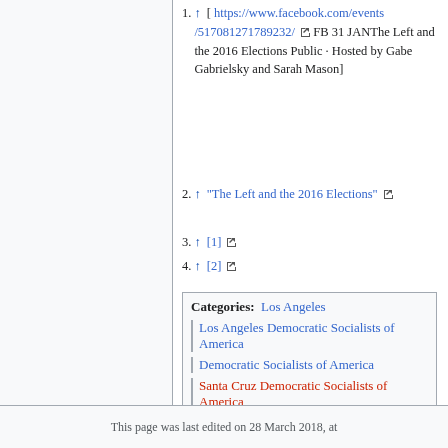1. ↑ [ https://www.facebook.com/events/517081271789232/ FB 31 JANThe Left and the 2016 Elections Public · Hosted by Gabe Gabrielsky and Sarah Mason]
2. ↑ "The Left and the 2016 Elections"
3. ↑ [1]
4. ↑ [2]
Categories: Los Angeles | Los Angeles Democratic Socialists of America | Democratic Socialists of America | Santa Cruz Democratic Socialists of America
This page was last edited on 28 March 2018, at